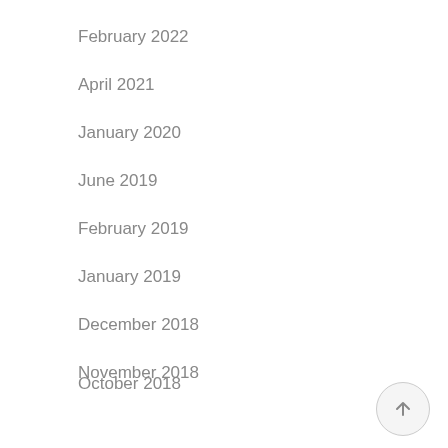February 2022
April 2021
January 2020
June 2019
February 2019
January 2019
December 2018
November 2018
October 2018
September 2018
August 2018